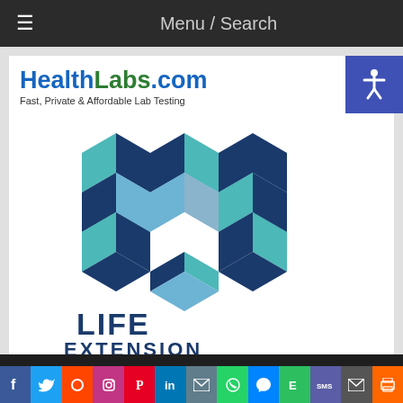Menu / Search
[Figure (logo): HealthLabs.com logo with text 'Fast, Private & Affordable Lab Testing']
[Figure (logo): Life Extension logo with hexagonal geometric design in blue and teal tones]
SEARCH SITE: